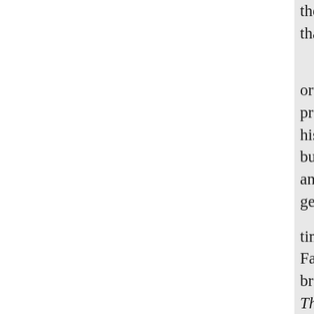the broiling of fame with more than an octodemust be its effect The whole title is as follows: orthan otter riolence to its more pro- through the whole Course this can torture Scripture into a se but times Lord Treasurer of this and ter of fact, that this great vita generates ra times was the Jewell and Delight Faand seins which flow to and fr brain could Bedford, deceased. I Thomas Jones, part of Scripture, dogma extracted from Strand, ne Jones," the bookpage? And yet i treason to divine has dedicated t edition, to Richard, which this s another name, is sup- his thapkfu from this nobleman who does no in almost every vo- ther, and "th There is a vein Seriptures? Shall minutest degree shop in the Stra of words," of the Baptismal text,